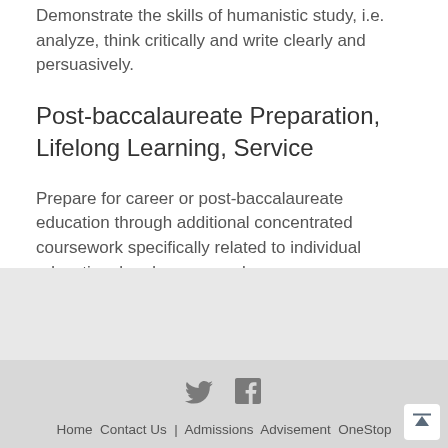Demonstrate the skills of humanistic study, i.e. analyze, think critically and write clearly and persuasively.
Post-baccalaureate Preparation, Lifelong Learning, Service
Prepare for career or post-baccalaureate education through additional concentrated coursework specifically related to individual educational and career goals.
[Figure (other): Gray background band area]
Home Contact Us | Admissions Advisement OneStop